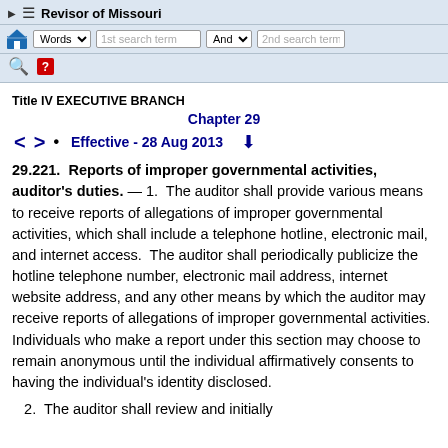Revisor of Missouri — navigation bar with Words search, 1st search term, And, 2nd search term
Title IV EXECUTIVE BRANCH
Chapter 29
< >  •  Effective - 28 Aug 2013  ↓
29.221.  Reports of improper governmental activities, auditor's duties. — 1.  The auditor shall provide various means to receive reports of allegations of improper governmental activities, which shall include a telephone hotline, electronic mail, and internet access.  The auditor shall periodically publicize the hotline telephone number, electronic mail address, internet website address, and any other means by which the auditor may receive reports of allegations of improper governmental activities.  Individuals who make a report under this section may choose to remain anonymous until the individual affirmatively consents to having the individual's identity disclosed.
2.  The auditor shall review and initially assign...